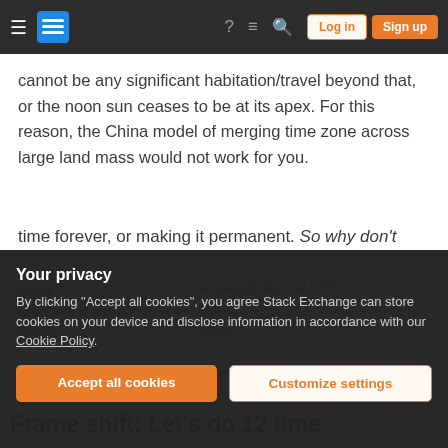Stack Exchange navigation bar with Log in and Sign up buttons
cannot be any significant habitation/travel beyond that, or the noon sun ceases to be at its apex. For this reason, the China model of merging time zone across large land mass would not work for you.
Share
Improve this answer
Follow
answered Jan 5 at 0:05
user93359
Add a comment
Frame shift: Let's do 12 time
Your privacy
By clicking "Accept all cookies", you agree Stack Exchange can store cookies on your device and disclose information in accordance with our Cookie Policy.
Accept all cookies   Customize settings
time  forever, or making it permanent. So why don't